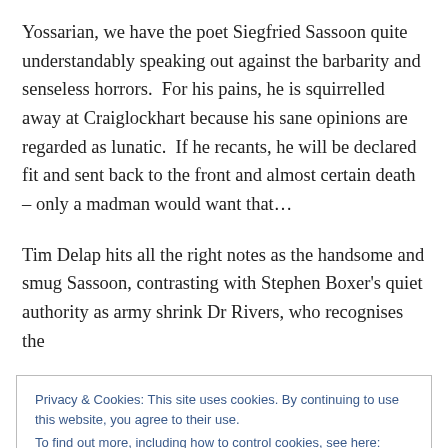Yossarian, we have the poet Siegfried Sassoon quite understandably speaking out against the barbarity and senseless horrors.  For his pains, he is squirrelled away at Craiglockhart because his sane opinions are regarded as lunatic.  If he recants, he will be declared fit and sent back to the front and almost certain death – only a madman would want that…
Tim Delap hits all the right notes as the handsome and smug Sassoon, contrasting with Stephen Boxer's quiet authority as army shrink Dr Rivers, who recognises the
Privacy & Cookies: This site uses cookies. By continuing to use this website, you agree to their use.
To find out more, including how to control cookies, see here: Cookie Policy